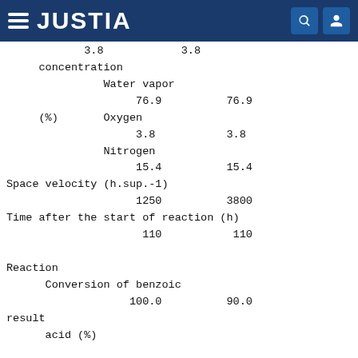JUSTIA
|  | 3.8 | 3.8 |
| concentration |  |  |
|  | Water vapor |  |
|  | 76.9 | 76.9 |
| (%) | Oxygen |  |
|  | 3.8 | 3.8 |
|  | Nitrogen |  |
|  | 15.4 | 15.4 |
| Space velocity (h.sup.-1) |  |  |
|  | 1250 | 3800 |
| Time after the start of reaction (h) |  |  |
|  | 110 | 110 |
| Reaction |  |  |
|  | Conversion of benzoic |  |
|  | 100.0 | 90.0 |
| result |  |  |
|  | acid (%) |  |